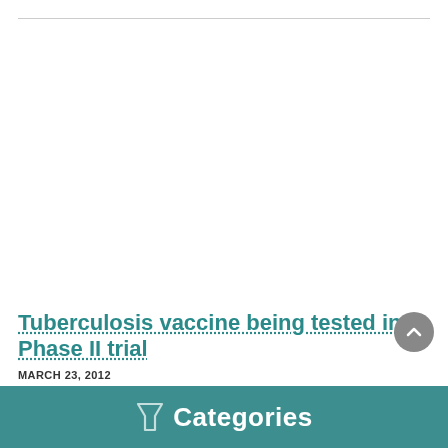Tuberculosis vaccine being tested in Phase II trial
MARCH 23, 2012
New vaccine expected to provide better protection against tuberculosis in the future  > more
Categories